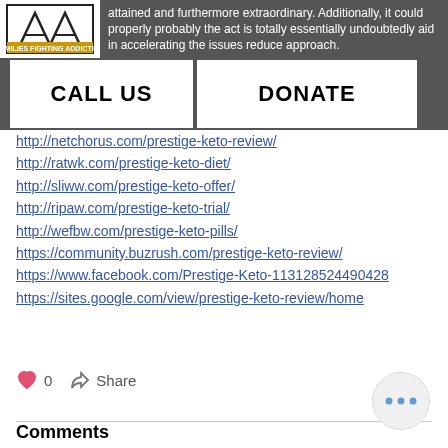attained and furthermore extraordinary. Additionally, it could properly probably the act is totally essentially undoubtedly aid in accelerating the issues reduce approach.
[Figure (screenshot): Website header bar with logo on the left and CALL US / DONATE buttons]
http://netchorus.com/prestige-keto-review/
http://ratwk.com/prestige-keto-diet/
http://sliww.com/prestige-keto-offer/
http://ripaw.com/prestige-keto-trial/
http://wefbw.com/prestige-keto-pills/
https://community.buzrush.com/prestige-keto-review/
https://www.facebook.com/Prestige-Keto-113128524490428
https://sites.google.com/view/prestige-keto-review/home
Comments